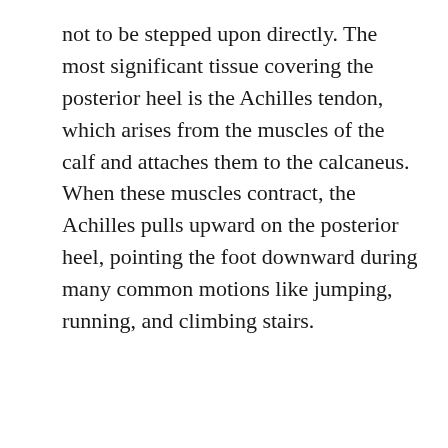not to be stepped upon directly. The most significant tissue covering the posterior heel is the Achilles tendon, which arises from the muscles of the calf and attaches them to the calcaneus. When these muscles contract, the Achilles pulls upward on the posterior heel, pointing the foot downward during many common motions like jumping, running, and climbing stairs.